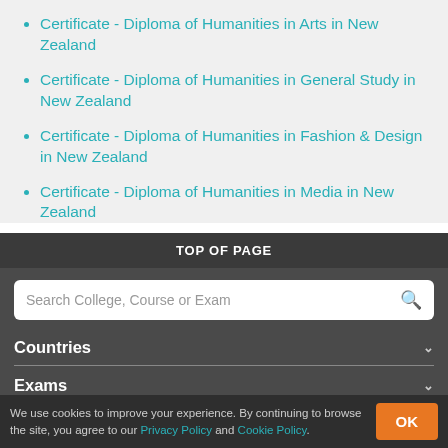Certificate - Diploma of Humanities in Arts in New Zealand
Certificate - Diploma of Humanities in General Study in New Zealand
Certificate - Diploma of Humanities in Fashion & Design in New Zealand
Certificate - Diploma of Humanities in Media in New Zealand
TOP OF PAGE
Search College, Course or Exam
Countries
Exams
We use cookies to improve your experience. By continuing to browse the site, you agree to our Privacy Policy and Cookie Policy.